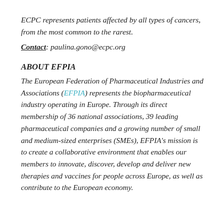ECPC represents patients affected by all types of cancers, from the most common to the rarest.
Contact: paulina.gono@ecpc.org
ABOUT EFPIA
The European Federation of Pharmaceutical Industries and Associations (EFPIA) represents the biopharmaceutical industry operating in Europe. Through its direct membership of 36 national associations, 39 leading pharmaceutical companies and a growing number of small and medium-sized enterprises (SMEs), EFPIA’s mission is to create a collaborative environment that enables our members to innovate, discover, develop and deliver new therapies and vaccines for people across Europe, as well as contribute to the European economy.